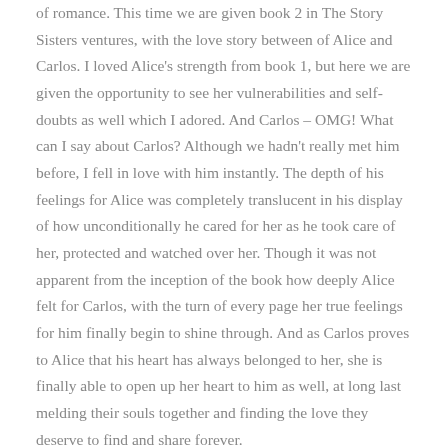of romance.  This time we are given book 2 in The Story Sisters ventures, with the love story between of Alice and Carlos.  I loved Alice's strength from book 1, but here we are given the opportunity to see her vulnerabilities and self-doubts as well which I adored.  And Carlos – OMG!  What can I say about Carlos?  Although we hadn't really met him before, I fell in love with him instantly.  The depth of his feelings for Alice was completely translucent in his display of how unconditionally he cared for her as he took care of her, protected and watched over her.  Though it was not apparent from the inception of the book how deeply Alice felt for Carlos, with the turn of every page her true feelings for him finally begin to shine through.  And as Carlos proves to Alice that his heart has always belonged to her, she is finally able to open up her heart to him as well, at long last melding their souls together and finding the love they deserve to find and share forever.
Katy Regnery never really surprises me with the fantastic